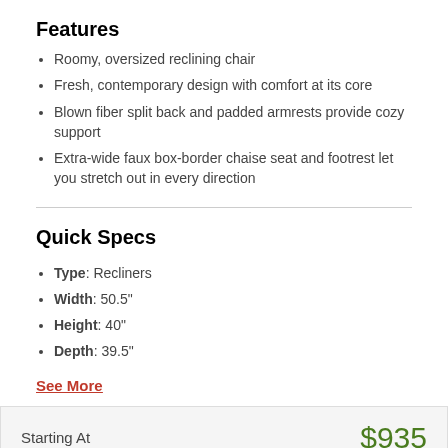Features
Roomy, oversized reclining chair
Fresh, contemporary design with comfort at its core
Blown fiber split back and padded armrests provide cozy support
Extra-wide faux box-border chaise seat and footrest let you stretch out in every direction
Quick Specs
Type: Recliners
Width: 50.5"
Height: 40"
Depth: 39.5"
See More
Starting At   $935
Enter Zip Code * For delivery options and item availability.